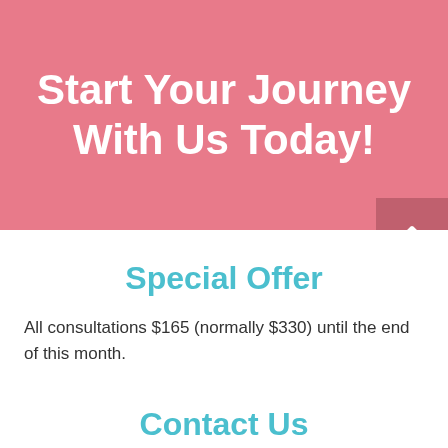Start Your Journey With Us Today!
Special Offer
All consultations $165 (normally $330) until the end of this month.
Contact Us